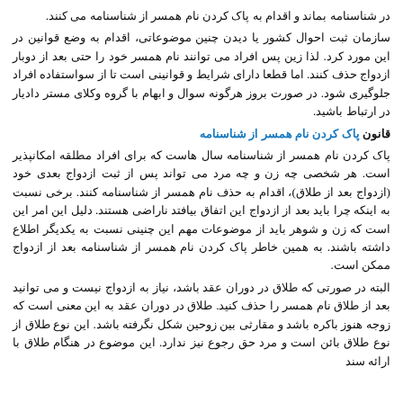در شناسنامه بماند و اقدام به پاک کردن نام همسر از شناسنامه می کنند.
سازمان ثبت احوال کشور یا دیدن چنین موضوعاتی، اقدام به وضع قوانین در این مورد کرد. لذا زین پس افراد می توانند نام همسر خود را حتی بعد از دوبار ازدواج حذف کنند. اما قطعا دارای شرایط و قوانینی است تا از سواستفاده افراد جلوگیری شود. در صورت بروز هرگونه سوال و ابهام با گروه وکلای مستر دادیار در ارتباط باشید.
قانون پاک کردن نام همسر از شناسنامه
پاک کردن نام همسر از شناسنامه سال هاست که برای افراد مطلقه امکانپذیر است. هر شخصی چه زن و چه مرد می تواند پس از ثبت ازدواج بعدی خود (ازدواج بعد از طلاق)، اقدام به حذف نام همسر از شناسنامه کنند. برخی نسبت به اینکه چرا باید بعد از ازدواج این اتفاق بیافتد ناراضی هستند. دلیل این امر این است که زن و شوهر باید از موضوعات مهم این چنینی نسبت به یکدیگر اطلاع داشته باشند. به همین خاطر پاک کردن نام همسر از شناسنامه بعد از ازدواج ممکن است.
البته در صورتی که طلاق در دوران عقد باشد، نیاز به ازدواج نیست و می توانید بعد از طلاق نام همسر را حذف کنید. طلاق در دوران عقد به این معنی است که زوجه هنوز باکره باشد و مقارثی بین زوحین شکل نگرفته باشد. این نوع طلاق از نوع طلاق بائن است و مرد حق رجوع نیز ندارد. این موضوع در هنگام طلاق با ارائه سند